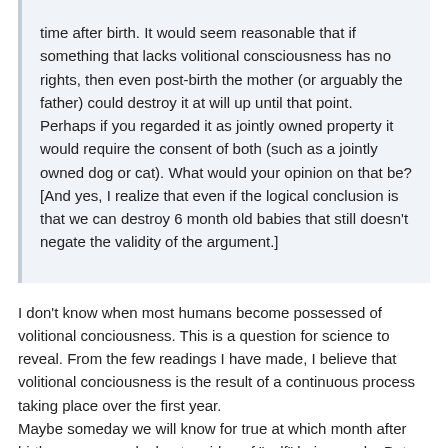time after birth. It would seem reasonable that if something that lacks volitional consciousness has no rights, then even post-birth the mother (or arguably the father) could destroy it at will up until that point. Perhaps if you regarded it as jointly owned property it would require the consent of both (such as a jointly owned dog or cat). What would your opinion on that be? [And yes, I realize that even if the logical conclusion is that we can destroy 6 month old babies that still doesn't negate the validity of the argument.]
I don't know when most humans become possessed of volitional conciousness. This is a question for science to reveal. From the few readings I have made, I believe that volitional conciousness is the result of a continuous process taking place over the first year.
Maybe someday we will know for true at which month after birth we can speak about an idea of "self" being made. But we will know it by indirect data. The sense of self is proven only by introspection and we might never know when, por a particular baby, such concent has arised.